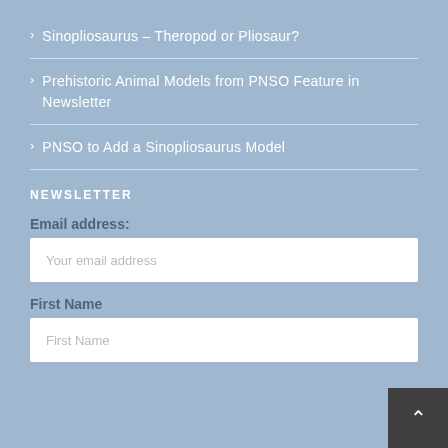Sinopliosaurus – Theropod or Pliosaur?
Prehistoric Animal Models from PNSO Feature in Newsletter
PNSO to Add a Sinopliosaurus Model
NEWSLETTER
Email address:
Your email address
First Name
First Name